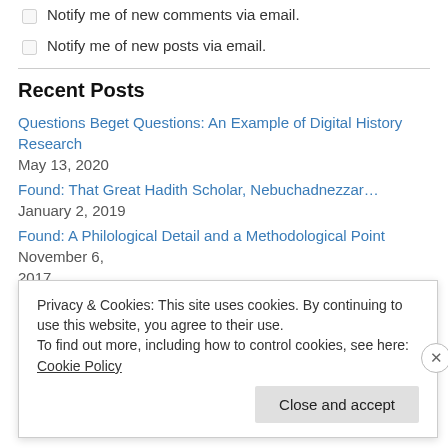Notify me of new comments via email.
Notify me of new posts via email.
Recent Posts
Questions Beget Questions: An Example of Digital History Research  May 13, 2020
Found: That Great Hadith Scholar, Nebuchadnezzar…  January 2, 2019
Found: A Philological Detail and a Methodological Point  November 6, 2017
A Brief Syriac Bio of an Arabic Poet  May 19, 2017
An Iraqi Jewish Voice on Zionism in 1928  April 2, 2017
Privacy & Cookies: This site uses cookies. By continuing to use this website, you agree to their use.
To find out more, including how to control cookies, see here: Cookie Policy
Close and accept